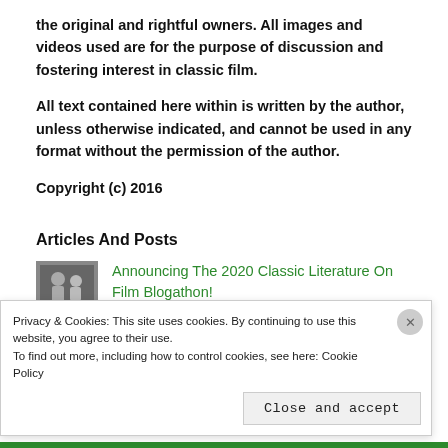the original and rightful owners. All images and videos used are for the purpose of discussion and fostering interest in classic film.
All text contained here within is written by the author, unless otherwise indicated, and cannot be used in any format without the permission of the author.
Copyright (c) 2016
Articles And Posts
[Figure (photo): Small thumbnail photo of two people, black and white.]
Announcing The 2020 Classic Literature On Film Blogathon!
Privacy & Cookies: This site uses cookies. By continuing to use this website, you agree to their use.
To find out more, including how to control cookies, see here: Cookie Policy
Close and accept